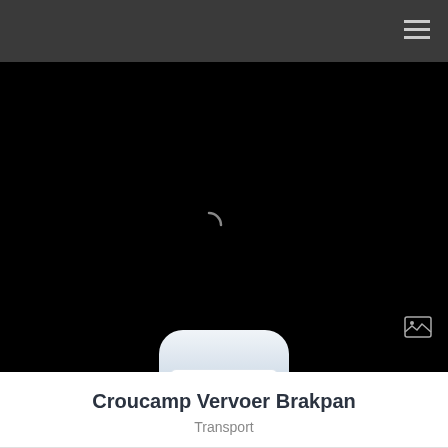[Figure (screenshot): Black hero image area with a broken image placeholder icon in the top-right corner and a loading spinner arc in the center. An app icon card overlaps the bottom of the black area — the card shows the Croucamp Transport/Vervoer logo (blue globe icon with a truck, brand name 'Croucamp' in blue, subtitle 'Transport/Vervoer' in grey) on a white background with rounded rectangle frame, with a light blue-grey gradient card background and rounded corners.]
Croucamp Vervoer Brakpan
Transport